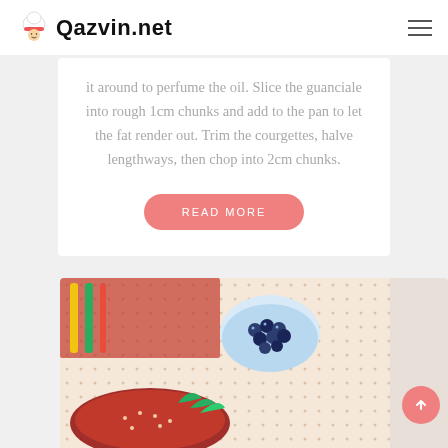Qazvin.net
it around to perfume the oil. Slice the guanciale into rough 1cm chunks and add to the pan to let the fat render out. Trim the courgettes, halve lengthways, then chop into 2cm chunks.
READ MORE
[Figure (photo): Food photo showing a dish with red meat/strawberries, blueberries in a bowl, and green leaves on a dotted/patterned surface]